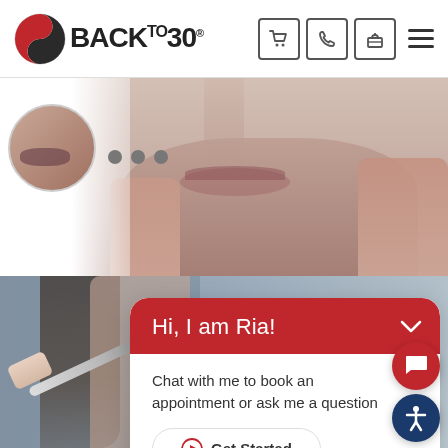[Figure (screenshot): Back to 30 website header with logo, navigation icons (cart, phone, gift, hamburger menu)]
[Figure (photo): Close-up photo of a woman's lower face touching her cheeks with both hands, with a thumbnail circle selector on the left]
[Figure (photo): Photo of a woman receiving an injection procedure, shown in the background]
Hi, I am Ria!
Chat with me to book an appointment or ask me a question
Get Started